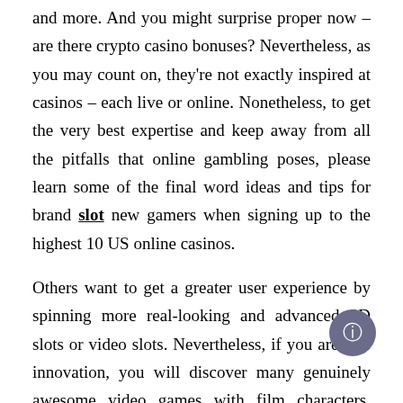and more. And you might surprise proper now – are there crypto casino bonuses? Nevertheless, as you may count on, they're not exactly inspired at casinos – each live or online. Nonetheless, to get the very best expertise and keep away from all the pitfalls that online gambling poses, please learn some of the final word ideas and tips for brand slot new gamers when signing up to the highest 10 US online casinos.
Others want to get a greater user experience by spinning more real-looking and advanced 3D slots or video slots. Nevertheless, if you are into innovation, you will discover many genuinely awesome video games with film characters, legendary creatures, unbelievable eventualities, and more. Find out extra about this casino